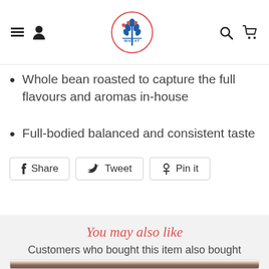[Figure (logo): Wheat brand logo: circular badge with wheat stalk and berries design, text WHEAT at bottom]
Whole bean roasted to capture the full flavours and aromas in-house
Full-bodied balanced and consistent taste
Share  Tweet  Pin it
You may also like
Customers who bought this item also bought
[Figure (photo): Partially visible product packaging — dark brown/maroon box with white and gold label, blurred]